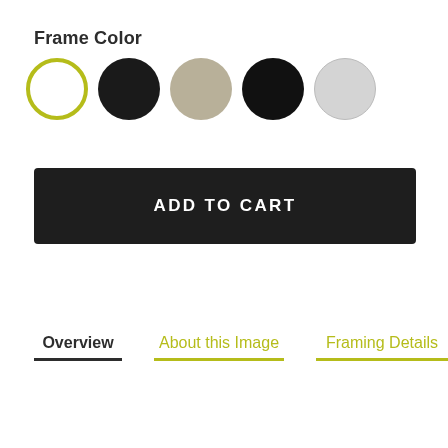Frame Color
[Figure (illustration): Five circular color swatches in a row: white with olive/yellow-green border (selected), solid black, tan/beige, solid dark black, and light gray.]
ADD TO CART
Overview | About this Image | Framing Details